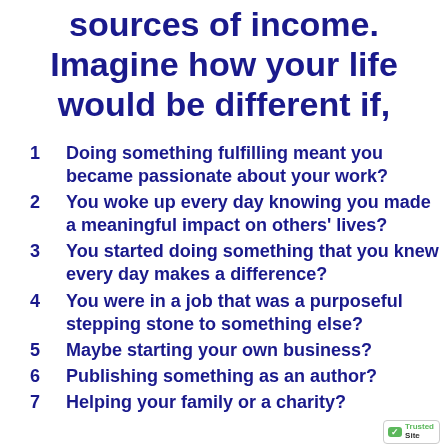sources of income. Imagine how your life would be different if,
1  Doing something fulfilling meant you became passionate about your work?
2  You woke up every day knowing you made a meaningful impact on others' lives?
3  You started doing something that you knew every day makes a difference?
4  You were in a job that was a purposeful stepping stone to something else?
5  Maybe starting your own business?
6  Publishing something as an author?
7  Helping your family or a charity?